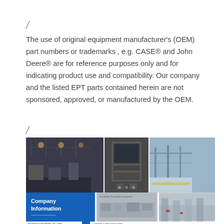/
The use of original equipment manufacturer's (OEM) part numbers or trademarks , e.g. CASE® and John Deere® are for reference purposes only and for indicating product use and compatibility. Our company and the listed EPT parts contained herein are not sponsored, approved, or manufactured by the OEM.
/
[Figure (photo): Company information collage showing factory interior, industrial machinery, manufacturing facility, and warehouse. Blue banner with 'Company Information' text. Bottom contact strip with manufacturing plant photos, contact details for MR.Alan Sales Manager, EVER POWER GROUP CO.,LTD, and EVER logo.]